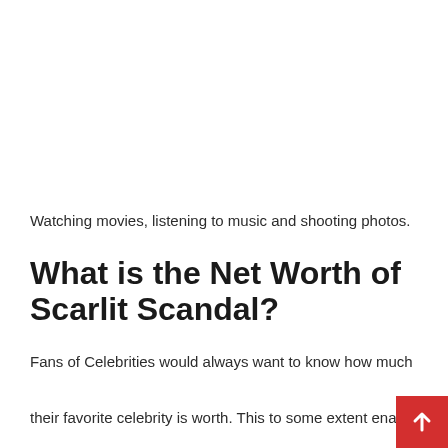[Figure (other): White blank/advertisement space at the top of the page]
Watching movies, listening to music and shooting photos.
What is the Net Worth of Scarlit Scandal?
Fans of Celebrities would always want to know how much their favorite celebrity is worth. This to some extent enables them to make better arguments when it comes to debates.